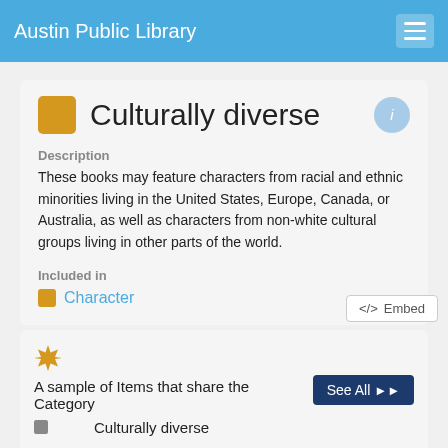Austin Public Library
Culturally diverse
Description
These books may feature characters from racial and ethnic minorities living in the United States, Europe, Canada, or Australia, as well as characters from non-white cultural groups living in other parts of the world.
Included in
Character
</> Embed
A sample of Items that share the Category Culturally diverse
See All